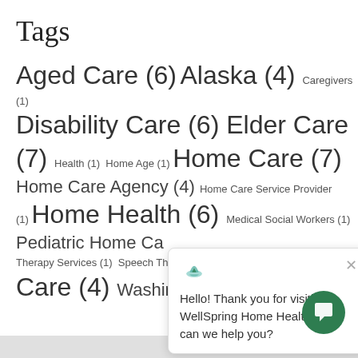Tags
Aged Care (6) Alaska (4) Caregivers (1) Disability Care (6) Elder Care (7) Health (1) Home Age (1) Home Care (7) Home Care Agency (4) Home Care Service Provider (1) Home Health (6) Medical Social Workers (1) Pediatric Home Care Therapy Services (1) Speech The Care (4) Washington
[Figure (other): Chat popup overlay with WellSpring Home Health logo and message: Hello! Thank you for visiting WellSpring Home Health. How can we help you?]
[Figure (other): Green circular chat button in bottom right corner]